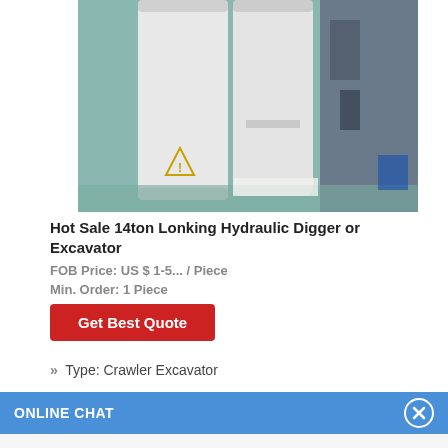[Figure (photo): Industrial white cylindrical tanks/equipment in a facility with teal/green flooring]
Hot Sale 14ton Lonking Hydraulic Digger or Excavator
FOB Price: US $ 1-5... / Piece
Min. Order: 1 Piece
Get Best Quote
» Type: Crawler Excavator
ONLINE CHAT
[Figure (photo): Avatar of a female customer service agent named Cilina]
Hi,welcome to visit our website.
Cilina